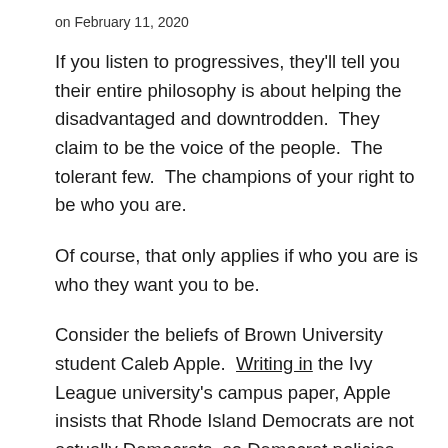on February 11, 2020
If you listen to progressives, they'll tell you their entire philosophy is about helping the disadvantaged and downtrodden.  They claim to be the voice of the people.  The tolerant few.  The champions of your right to be who you are.
Of course, that only applies if who you are is who they want you to be.
Consider the beliefs of Brown University student Caleb Apple.  Writing in the Ivy League university's campus paper, Apple insists that Rhode Island Democrats are not actually Democrats, so Democrat policies cannot be blamed for the horrible condition of the state. Apple writes about RI having "the worst infrastructure in the country" and a budget so tight that it targets cuts to